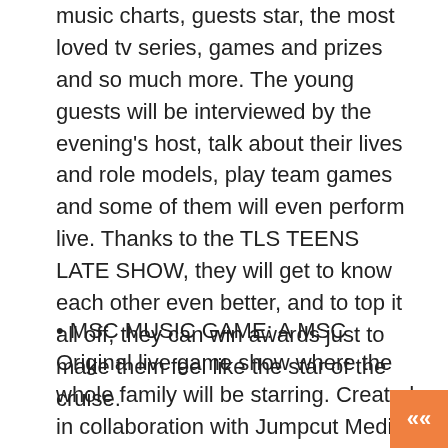music charts, guests star, the most loved tv series, games and prizes and so much more. The young guests will be interviewed by the evening's host, talk about their lives and role models, play team games and some of them will even perform live. Thanks to the TLS TEENS LATE SHOW, they will get to know each other even better, and to top it all off, they can win awards just to make them feel like the star of the cruise.
• MSC MUSIC GAME: A MSC Original live game show where the whole family will be starring. Created in collaboration with Jumpcut Media, this is an unmissable game show dedicated to music and suitable for all ages. Held on the day at sea in MSC Seashore's theatre, children and parents together to play